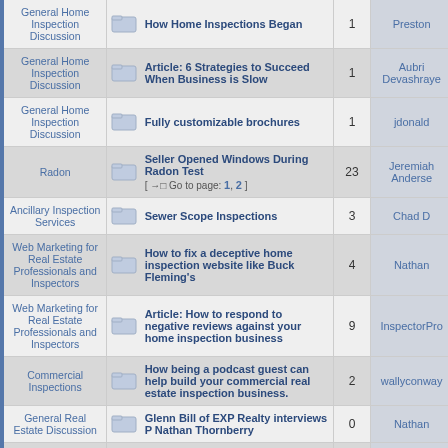| Forum |  | Topic | Replies | Author |
| --- | --- | --- | --- | --- |
| General Home Inspection Discussion | [folder] | How Home Inspections Began | 1 | Preston |
| General Home Inspection Discussion | [folder] | Article: 6 Strategies to Succeed When Business is Slow | 1 | Aubri Devashray... |
| General Home Inspection Discussion | [folder] | Fully customizable brochures | 1 | jdonald |
| Radon | [folder] | Seller Opened Windows During Radon Test [ Go to page: 1, 2 ] | 23 | Jeremiah Anders... |
| Ancillary Inspection Services | [folder] | Sewer Scope Inspections | 3 | Chad D |
| Web Marketing for Real Estate Professionals and Inspectors | [folder] | How to fix a deceptive home inspection website like Buck Fleming's | 4 | Nathan |
| Web Marketing for Real Estate Professionals and Inspectors | [folder] | Article: How to respond to negative reviews against your home inspection business | 9 | InspectorPro |
| Commercial Inspections | [folder] | How being a podcast guest can help build your commercial real estate inspection business. | 2 | wallyconway |
| General Real Estate Discussion | [folder] | Glenn Bill of EXP Realty interviews P Nathan Thornberry | 0 | Nathan |
| General Real Estate | [folder] | Sample questions to ask... | 3 | Brian Walker |